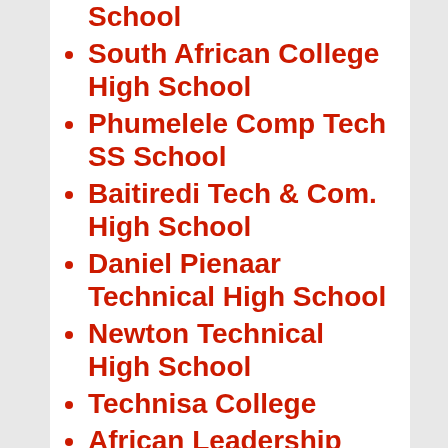School
South African College High School
Phumelele Comp Tech SS School
Baitiredi Tech & Com. High School
Daniel Pienaar Technical High School
Newton Technical High School
Technisa College
African Leadership Academy
The Africa Institute of South